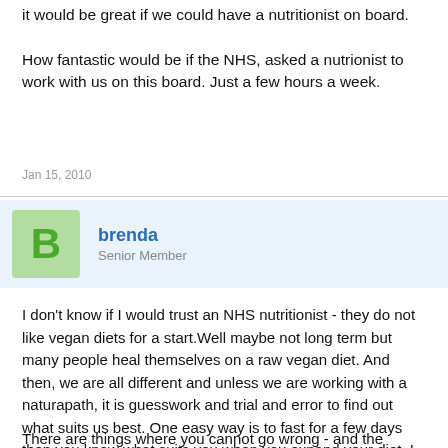it would be great if we could have a nutritionist on board.
How fantastic would be if the NHS, asked a nutrionist to work with us on this board. Just a few hours a week.
Jan 15, 2010
brenda
Senior Member
I don't know if I would trust an NHS nutritionist - they do not like vegan diets for a start.Well maybe not long term but many people heal themselves on a raw vegan diet. And then, we are all different and unless we are working with a naturapath, it is guesswork and trial and error to find out what suits us best. One easy way is to fast for a few days then you know what suits you when you expand your diet. I found out that pulses are out because of a recent enforced fast - salmonella.
There are things where you cannot go wrong - and the